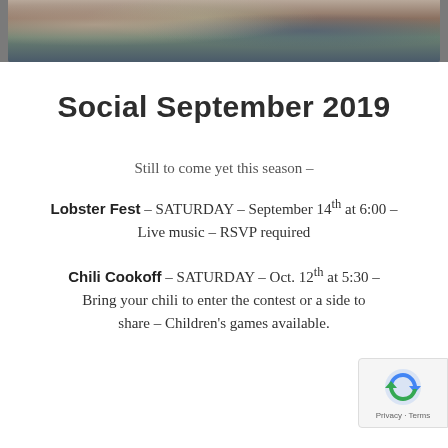[Figure (photo): Photo strip showing people at a social gathering outdoors with a colorful tablecloth visible]
Social September 2019
Still to come yet this season –
Lobster Fest – SATURDAY – September 14th at 6:00 – Live music – RSVP required
Chili Cookoff – SATURDAY – Oct. 12th at 5:30 – Bring your chili to enter the contest or a side to share – Children's games available.